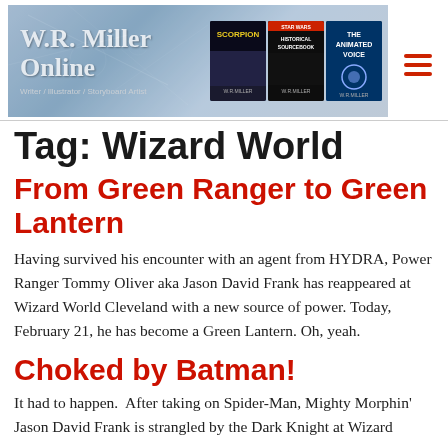[Figure (illustration): W.R. Miller Online website header banner with site title, subtitle 'Writer / Illustrator / Storyboard Artist', and three book covers (Scorpion, Star Wars Historical Sourcebook, The Animated Voice), plus a hamburger menu icon on the right]
Tag: Wizard World
From Green Ranger to Green Lantern
Having survived his encounter with an agent from HYDRA, Power Ranger Tommy Oliver aka Jason David Frank has reappeared at Wizard World Cleveland with a new source of power. Today, February 21, he has become a Green Lantern. Oh, yeah.
Choked by Batman!
It had to happen.  After taking on Spider-Man, Mighty Morphin' Jason David Frank is strangled by the Dark Knight at Wizard